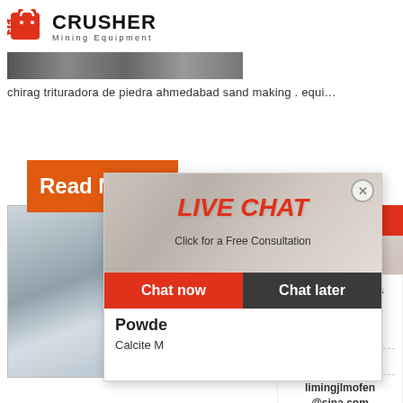[Figure (logo): Crusher Mining Equipment logo with red shopping bag icon and bold CRUSHER text]
[Figure (photo): Top banner image of industrial/mining equipment, partially visible]
chirag trituradora de piedra ahmedabad sand making . equi…
[Figure (photo): Orange Read More button overlapping an industrial machinery image]
[Figure (screenshot): Live Chat popup overlay with workers in hard hats photo, LIVE CHAT title, Click for a Free Consultation, Chat now and Chat later buttons]
[Figure (photo): 24Hrs Online banner with customer service representative wearing headset]
Powde
Calcite M
Read
[Figure (infographic): Need questions & suggestion? sidebar with Chat Now button, Enquiry link, and limingjlmofen@sina.com email]